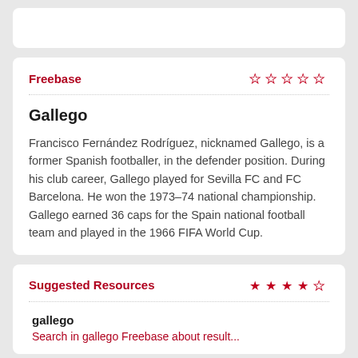Freebase
Gallego
Francisco Fernández Rodríguez, nicknamed Gallego, is a former Spanish footballer, in the defender position. During his club career, Gallego played for Sevilla FC and FC Barcelona. He won the 1973–74 national championship. Gallego earned 36 caps for the Spain national football team and played in the 1966 FIFA World Cup.
Suggested Resources
gallego
Search in gallego... (preview)